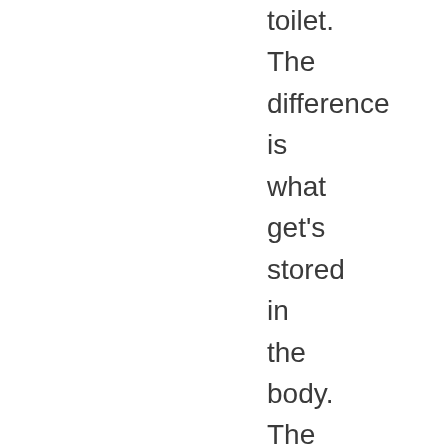toilet. The difference is what get's stored in the body. The principle is simple but applying it can be complicated. The internal processes that decide what goes